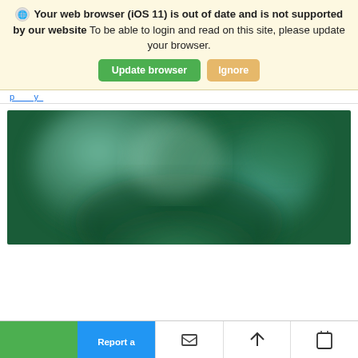Your web browser (iOS 11) is out of date and is not supported by our website To be able to login and read on this site, please update your browser.
[Figure (screenshot): Blurred green background image, possibly a blurred photo of a person or scene with green tones.]
[Figure (screenshot): Bottom toolbar showing green button, blue 'Report a' button, and white icon buttons for share/bookmark.]